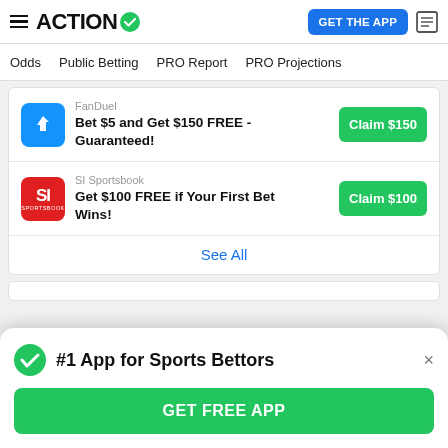ACTION
Odds   Public Betting   PRO Report   PRO Projections
FanDuel
Bet $5 and Get $150 FREE - Guaranteed!
Claim $150
SI Sportsbook
Get $100 FREE if Your First Bet Wins!
Claim $100
See All
#1 App for Sports Bettors
GET FREE APP